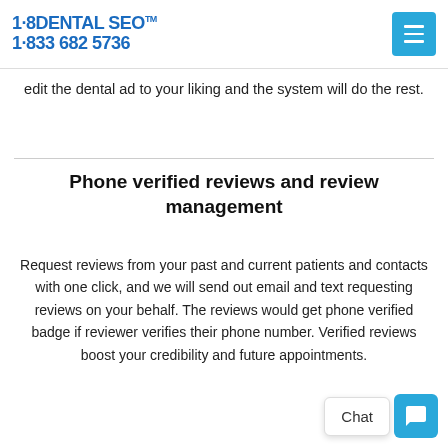1·8DENTAL SEO™ 1·833 682 5736
edit the dental ad to your liking and the system will do the rest.
Phone verified reviews and review management
Request reviews from your past and current patients and contacts with one click, and we will send out email and text requesting reviews on your behalf. The reviews would get phone verified badge if reviewer verifies their phone number. Verified reviews boost your credibility and future appointments.